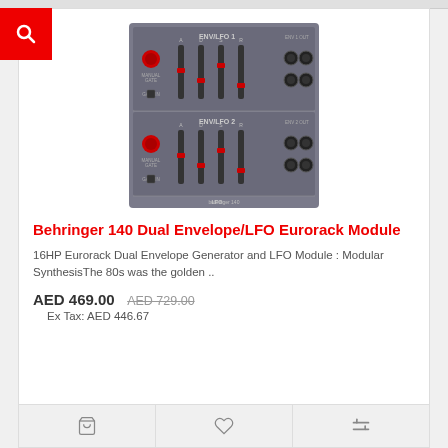[Figure (photo): Behringer 140 Dual Envelope/LFO Eurorack Module product photo showing the gray module panel with sliders, knobs, and patch points]
Behringer 140 Dual Envelope/LFO Eurorack Module
16HP Eurorack Dual Envelope Generator and LFO Module : Modular SynthesisThe 80s was the golden ..
AED 469.00  AED 729.00
Ex Tax: AED 446.67